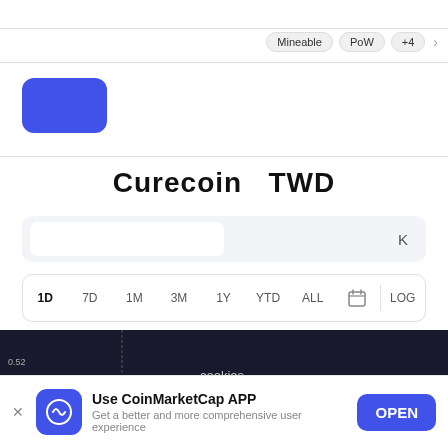Mineable  PoW  +4  >
[Figure (logo): Blue rounded rectangle logo placeholder for Curecoin]
Curecoin   TWD
K
1D  7D  1M  3M  1Y  YTD  ALL  [calendar]  |  LOG
[Figure (line-chart): Curecoin TWD price chart on dark background with green line showing price movements, y-axis labels 0.52 and 0.31, with cookies consent overlays]
cookies
cookies
Use CoinMarketCap APP
Get a better and more comprehensive user experience